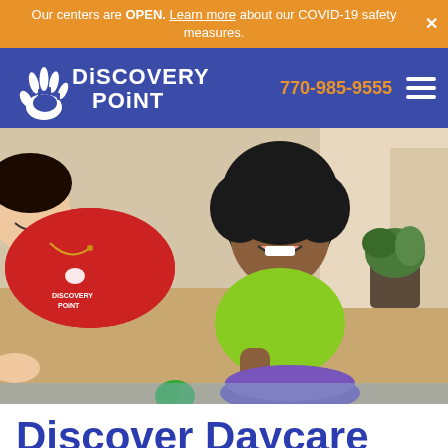Our centers are OPEN. Learn more about our COVID-19 safety measures.
[Figure (logo): Discovery Point logo with hand print icon on blue background]
770-985-9555
[Figure (photo): A teacher in a red Discovery Point shirt sits with a young girl in a green shirt at a table with toys/activities]
Discover Daycare